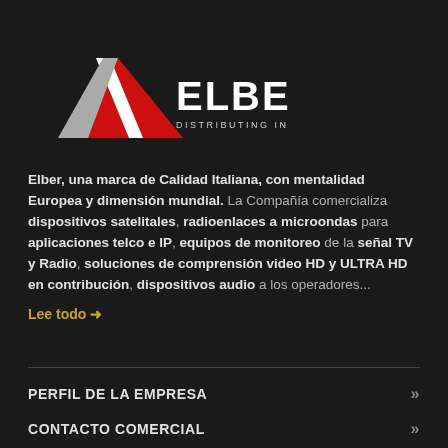[Figure (logo): Elber logo — red triangle with white diagonal slash, company name ELBER in white block letters, subtitle DISTRIBUTING INNOVATION below]
Elber, una marca de Calidad Italiana, con mentalidad Europea y dimensión mundial. La Compañía comercializa dispositivos satelitales, radioenlaces a microondas para aplicaciones telco e IP, equipos de monitoreo de la señal TV y Radio, soluciones de comprensión video HD y ULTRA HD en contribución, dispositivos audio a los operadores...
Lee todo →
PERFIL DE LA EMPRESA
CONTACTO COMERCIAL